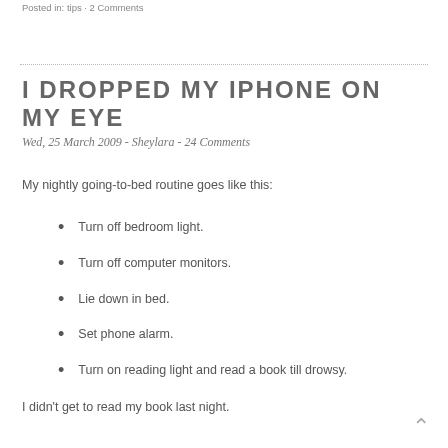Posted in: tips · 2 Comments
I DROPPED MY IPHONE ON MY EYE
Wed, 25 March 2009 - Sheylara - 24 Comments
My nightly going-to-bed routine goes like this:
Turn off bedroom light.
Turn off computer monitors.
Lie down in bed.
Set phone alarm.
Turn on reading light and read a book till drowsy.
I didn’t get to read my book last night.